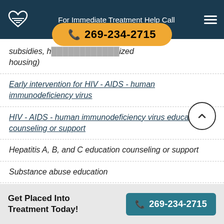For Immediate Treatment Help Call 269-234-2715
subsidies, housing) [partially visible, italicized]
Early intervention for HIV - AIDS - human immunodeficiency virus
HIV - AIDS - human immunodeficiency virus education counseling or support
Hepatitis A, B, and C education counseling or support
Substance abuse education
Transportation assistance
Get Placed Into Treatment Today! 269-234-2715